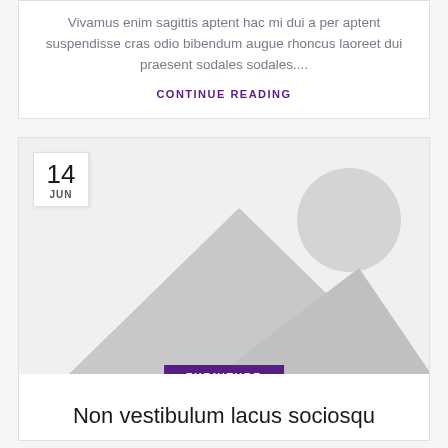Vivamus enim sagittis aptent hac mi dui a per aptent suspendisse cras odio bibendum augue rhoncus laoreet dui praesent sodales sodales....
CONTINUE READING
[Figure (photo): Placeholder image with mountain silhouette and circle (sun), light gray background, with date badge showing 14 JUN and category badge FURNITURE]
FURNITURE
Non vestibulum lacus sociosqu